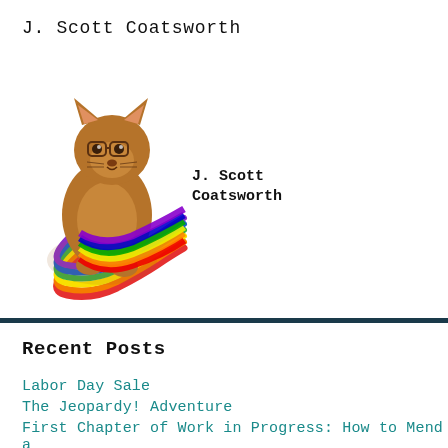J. Scott Coatsworth
[Figure (illustration): A cartoon cat/ferret mascot with brown fur, wearing glasses, sitting with a rainbow-colored tail curled around. Next to it is bold text reading 'J. Scott Coatsworth'.]
Recent Posts
Labor Day Sale
The Jeopardy! Adventure
First Chapter of Work in Progress: How to Mend a Wooden Heart